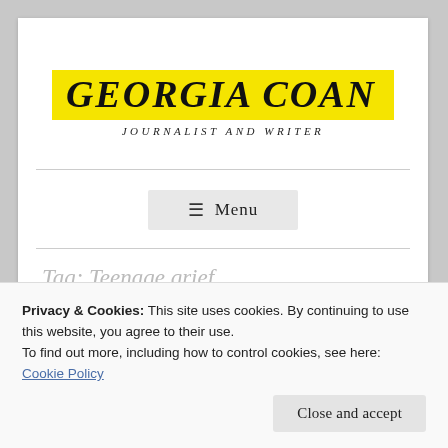GEORGIA COAN
JOURNALIST AND WRITER
≡  Menu
Tag: Teenage grief
Privacy & Cookies: This site uses cookies. By continuing to use this website, you agree to their use.
To find out more, including how to control cookies, see here: Cookie Policy
Close and accept